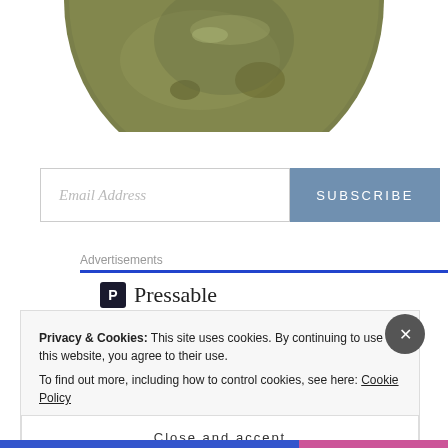[Figure (photo): Bottom portion of a circular photo showing a murky olive-green liquid or surface with reflections and organic matter visible]
Email Address
SUBSCRIBE
Advertisements
[Figure (logo): Pressable logo: dark square icon with letter P followed by the word Pressable in serif font]
Privacy & Cookies: This site uses cookies. By continuing to use this website, you agree to their use.
To find out more, including how to control cookies, see here: Cookie Policy
Close and accept